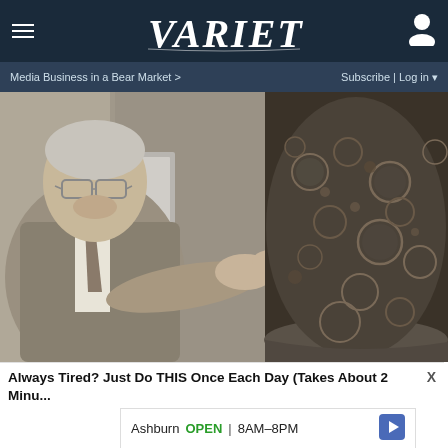VARIETY — Media Business in a Bear Market > | Subscribe | Log in
[Figure (photo): A man in a grey suit and tie pointing at something off-screen to the right; adjacent to a close-up image of a bubbling or textured liquid/material in a pot or container]
Always Tired? Just Do THIS Once Each Day (Takes About 2 Minutes)
Ashburn  OPEN  8AM–8PM
44110 Ashburn Shopping P...
View store hours, get...